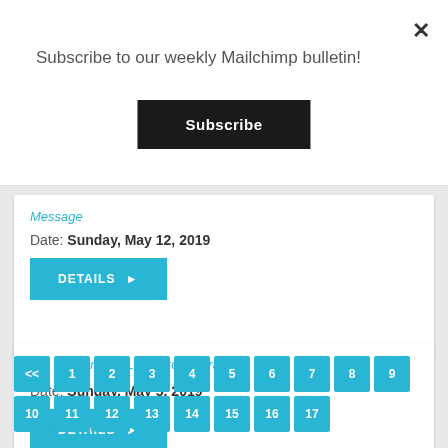Subscribe to our weekly Mailchimp bulletin!
Subscribe
Message
Date: Sunday, May 12, 2019
DETAILS ▶
Lessons for Life - From Abraham
Date: Sunday, May 5, 2019
DETAILS ▶
<< 1 2 3 4 5 6 7 8 9 10 11 12 13 14 15 16 17